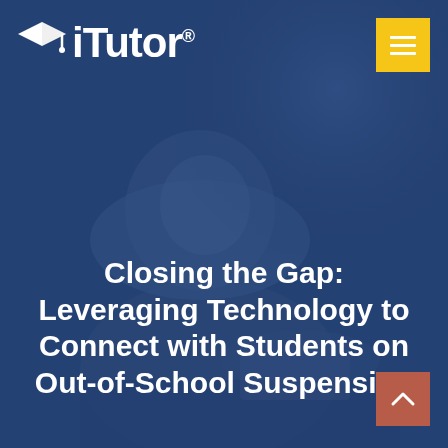[Figure (photo): A woman wearing a hijab sitting at a desk with a laptop, overlaid with a blue tint. She appears to be studying or working.]
iTutor®
Closing the Gap: Leveraging Technology to Connect with Students on Out-of-School Suspension